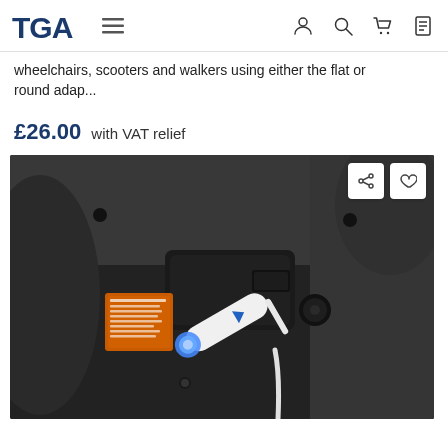TGA — navigation header with hamburger menu, user, search, cart, and document icons
wheelchairs, scooters and walkers using either the flat or round adap...
£26.00  with VAT relief
[Figure (photo): Close-up photo of the underside of a mobility scooter showing a USB charging port with a white USB device plugged in, glowing blue at the tip, with a warning label in orange and a power socket nearby. The device body is dark grey/black plastic.]